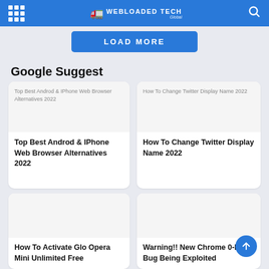WEBLOADED TECH
LOAD MORE
Google Suggest
[Figure (screenshot): Card showing broken image placeholder for Top Best Androd & IPhone Web Browser Alternatives 2022]
Top Best Androd & IPhone Web Browser Alternatives 2022
[Figure (screenshot): Card showing broken image placeholder for How To Change Twitter Display Name 2022]
How To Change Twitter Display Name 2022
How To Activate Glo Opera Mini Unlimited Free
Warning!! New Chrome 0-Day Bug Being Exploited